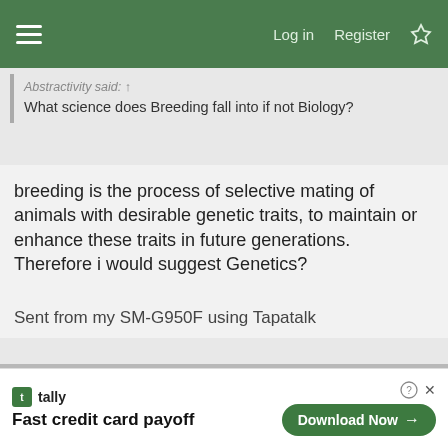Log in  Register
Abstractivity said: ↑
What science does Breeding fall into if not Biology?
breeding is the process of selective mating of animals with desirable genetic traits, to maintain or enhance these traits in future generations.
Therefore i would suggest Genetics?


Sent from my SM-G950F using Tapatalk
Apr 23, 2019  #13
Sdaji
Almost Legendary
[Figure (screenshot): Advertisement banner: Tally logo, 'Fast credit card payoff' text, Download Now button]